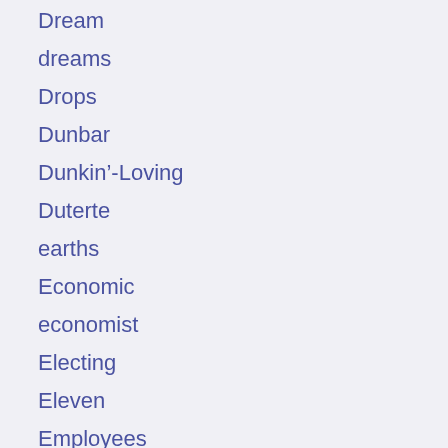Dream
dreams
Drops
Dunbar
Dunkin'-Loving
Duterte
earths
Economic
economist
Electing
Eleven
Employees
endorsed